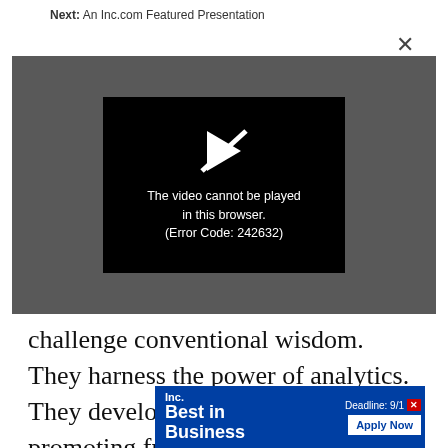Next: An Inc.com Featured Presentation
[Figure (screenshot): Video player error overlay on a dark gray background. A black box in the center contains a broken play icon (white) and text: 'The video cannot be played in this browser. (Error Code: 242632)']
challenge conventional wisdom. They harness the power of analytics. They develop players, effectively promoting from within. Thei... ther
[Figure (other): Inc. Best in Business advertisement banner with 'Deadline: 9/X' and 'Apply Now' button on blue background]